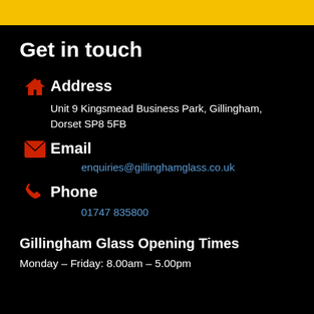Get in touch
Address
Unit 9 Kingsmead Business Park, Gillingham, Dorset SP8 5FB
Email
enquiries@gillinghamglass.co.uk
Phone
01747 835800
Gillingham Glass Opening Times
Monday – Friday: 8.00am – 5.00pm